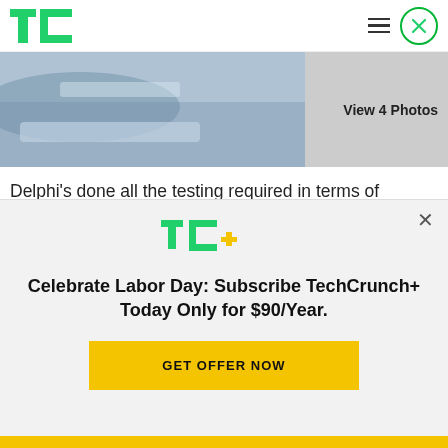TechCrunch
[Figure (photo): Close-up photo of automotive dashboard display technology]
View 4 Photos
Delphi’s done all the testing required in terms of classifying the tech as automotive grade, and is now in the process of talking to carmakers around use of the technology. An automotive OEM would license Dephi’s multi-layered display for use in their vehicles, and they’ll then customize it to fit with…
[Figure (logo): TC+ TechCrunch Plus logo in green and yellow]
Celebrate Labor Day: Subscribe TechCrunch+ Today Only for $90/Year.
GET OFFER NOW